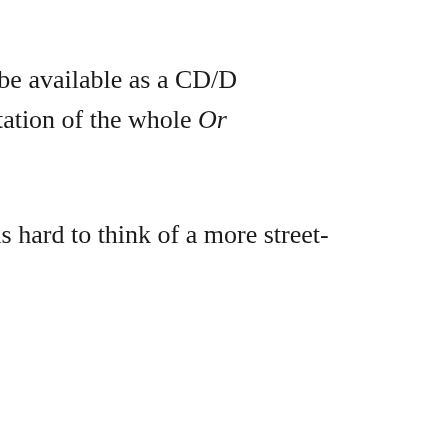The album will be available as a CD/D visual documentation of the whole Or
It is hard to think of a more street-
contends Lasse,
I think metal is good only if one c This happens on Ordeal. I am pers a lot of atmospheric changes and l